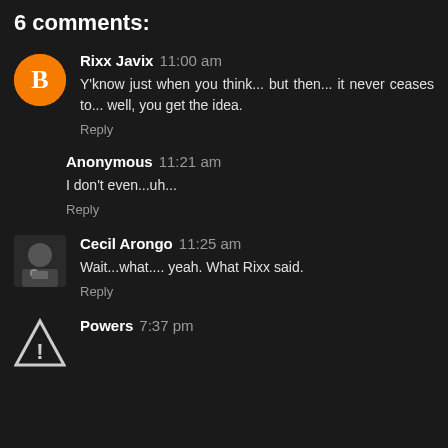6 comments:
Rixx Javix 11:00 am
Y'know just when you think... but then... it never ceases to... well, you get the idea.
Reply
Anonymous 11:21 am
I don't even...uh...
Reply
Cecil Arongo 11:25 am
Wait...what.... yeah. What Rixx said.
Reply
Powers 7:37 pm